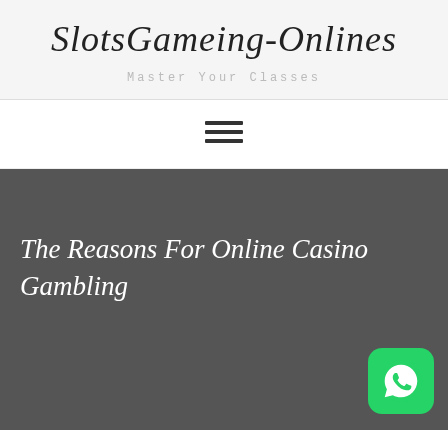SlotsGameing-Onlines
Master Your Classes
[Figure (other): Hamburger menu icon with three horizontal lines]
The Reasons For Online Casino Gambling
[Figure (other): WhatsApp button icon, green rounded square with phone/chat logo]